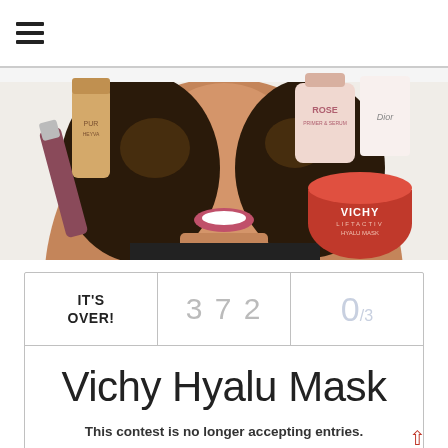☰
[Figure (photo): A smiling woman with curly hair surrounded by beauty products including a Vichy Liftactiv Hyalu Mask jar, a Rose primer bottle, Dior product, lip gloss, and foundation.]
IT'S OVER!
372
0/3
Vichy Hyalu Mask
This contest is no longer accepting entries.